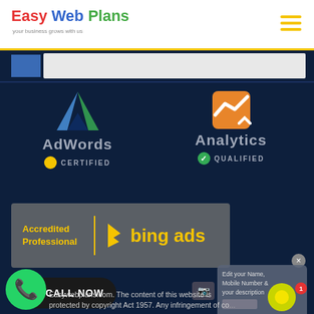[Figure (logo): Easy Web Plans logo with tagline 'your business grows with us']
[Figure (screenshot): Website screenshot showing AdWords Certified, Analytics Qualified, and Bing Ads Accredited Professional badges on dark navy background]
Easywebplans.com. The content of this website is protected by copyright Act 1957. Any infringement of co...
[Figure (infographic): WhatsApp CALL NOW button and large WhatsApp icon overlay]
[Figure (screenshot): Chat popup with field for mobile number and camera icon, notification badge showing 1 unread]